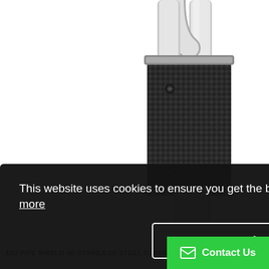[Figure (photo): Product photo of a DEI pipe shield with carbon fiber wrap and stainless steel clamps on a curved exhaust pipe, white background]
This website uses cookies to ensure you get the best experience on our website. Learn more
Got it!
Contact Us
DEI PIPE SHIELD W/ STAINLESS STEEL CLAMPS - 4IN